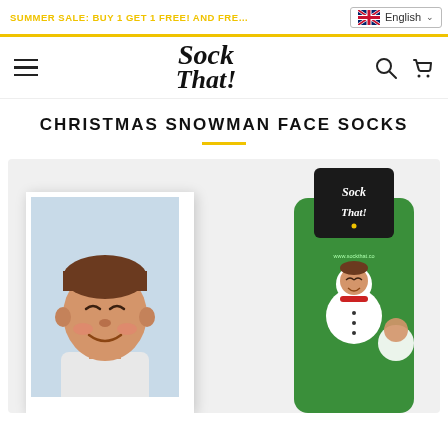SUMMER SALE: BUY 1 GET 1 FREE! AND FREE SHIPPING
[Figure (screenshot): Sock That! e-commerce website header with hamburger menu, logo, search and cart icons, and English language selector]
CHRISTMAS SNOWMAN FACE SOCKS
[Figure (photo): Product page showing a smiling boy's photo in a polaroid frame on the left, and green Christmas snowman face socks with Sock That! branded label on the right, against a light grey background]